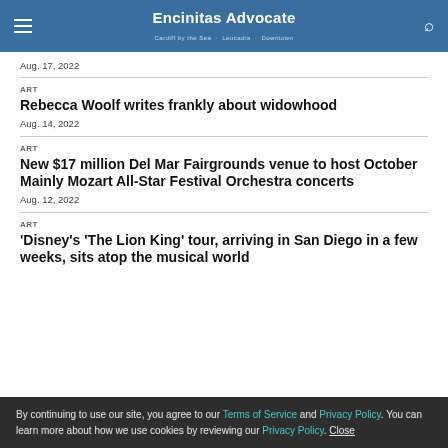Encinitas Advocate
Aug. 17, 2022
ART
Rebecca Woolf writes frankly about widowhood
Aug. 14, 2022
ART
New $17 million Del Mar Fairgrounds venue to host October Mainly Mozart All-Star Festival Orchestra concerts
Aug. 12, 2022
ART
'Disney's 'The Lion King' tour, arriving in San Diego in a few weeks, sits atop the musical world
By continuing to use our site, you agree to our Terms of Service and Privacy Policy. You can learn more about how we use cookies by reviewing our Privacy Policy. Close